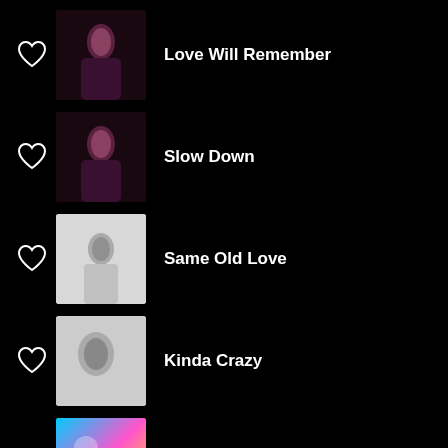Love Will Remember
Slow Down
Same Old Love
Kinda Crazy
Magic